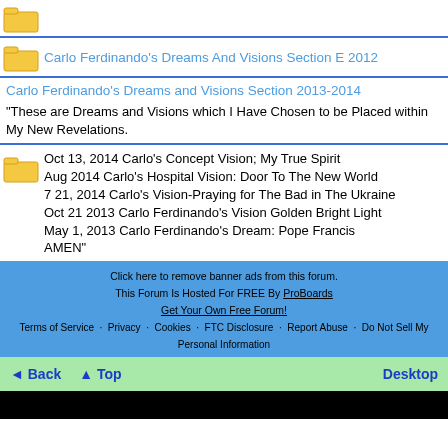Carlo Ferdinando's Dreams And Visions Section E 2012
Carlo Ferdinando's Dreams and Visions Section 2013-2014
"These are Dreams and Visions which I Have Chosen to be Placed within My New Revelations.
Oct 13, 2014 Carlo's Concept Vision; My True Spirit
Aug 2014 Carlo's Hospital Vision: Door To The New World
7 21, 2014 Carlo's Vision-Praying for The Bad in The Ukraine
Oct 21 2013 Carlo Ferdinando's Vision Golden Bright Light
May 1, 2013 Carlo Ferdinando's Dream: Pope Francis
AMEN"
Click here to remove banner ads from this forum.
This Forum Is Hosted For FREE By ProBoards
Get Your Own Free Forum!
Terms of Service · Privacy · Cookies · FTC Disclosure · Report Abuse · Do Not Sell My Personal Information
◄ Back  ▲ Top  Desktop